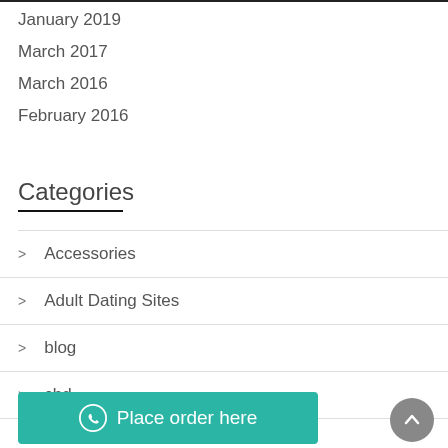January 2019
March 2017
March 2016
February 2016
Categories
Accessories
Adult Dating Sites
blog
cbd